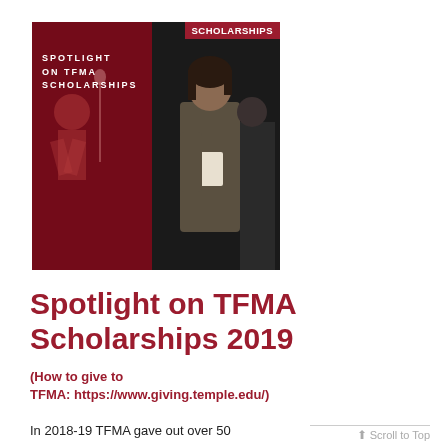[Figure (photo): A composite image with a dark red left panel showing text 'SPOTLIGHT ON TFMA SCHOLARSHIPS' in white, and a right panel showing a woman in an olive jacket holding papers on a dark stage. A red 'SCHOLARSHIPS' badge appears at the top right of the image.]
Spotlight on TFMA Scholarships 2019
(How to give to TFMA: https://www.giving.temple.edu/)
In 2018-19 TFMA gave out over 50